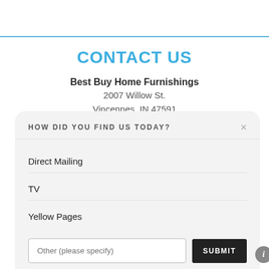CONTACT US
Best Buy Home Furnishings
2007 Willow St.
Vincennes, IN 47591
HOW DID YOU FIND US TODAY?
Direct Mailing
TV
Yellow Pages
Other (please specify)  SUBMIT